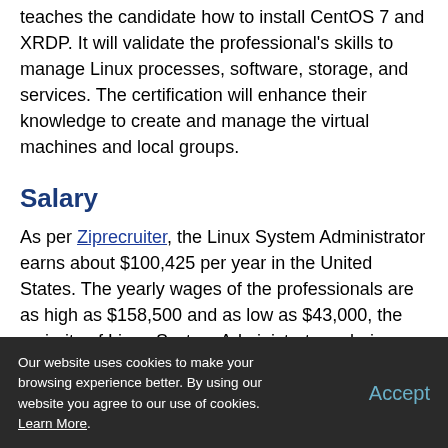teaches the candidate how to install CentOS 7 and XRDP. It will validate the professional's skills to manage Linux processes, software, storage, and services. The certification will enhance their knowledge to create and manage the virtual machines and local groups.
Salary
As per Ziprecruiter, the Linux System Administrator earns about $100,425 per year in the United States. The yearly wages of the professionals are as high as $158,500 and as low as $43,000, the majority of Linux System Administrator salaries currently range between $81,500...
Our website uses cookies to make your browsing experience better. By using our website you agree to our use of cookies. Learn More.